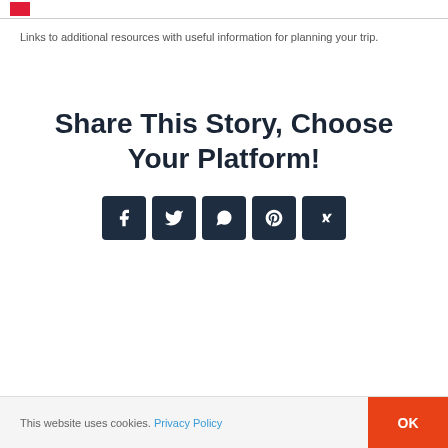Links to additional resources with useful information for planning your trip.
Share This Story, Choose Your Platform!
[Figure (infographic): Five social media share buttons in dark navy square icons: Facebook (f), Twitter (bird), WhatsApp (phone), Pinterest (p), VK (vk)]
This website uses cookies. Privacy Policy  OK